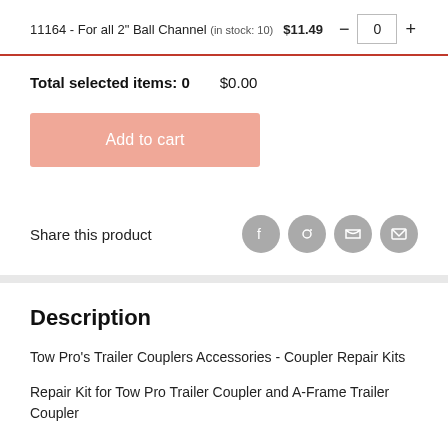11164 - For all 2" Ball Channel (in stock: 10)  $11.49  −  0  +
Total selected items: 0   $0.00
Add to cart
Share this product
Description
Tow Pro's Trailer Couplers Accessories - Coupler Repair Kits
Repair Kit for Tow Pro Trailer Coupler and A-Frame Trailer Coupler